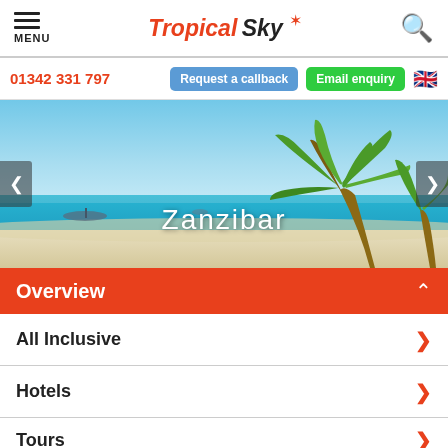MENU | Tropical Sky | Search
01342 331 797 | Request a callback | Email enquiry
[Figure (photo): Tropical beach scene with turquoise water, white sand, and a palm tree. Text overlay reads 'Zanzibar'. Carousel navigation arrows on left and right.]
Overview
All Inclusive
Hotels
Tours